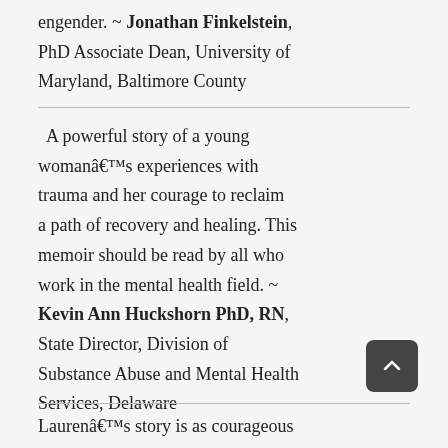engender. ~ Jonathan Finkelstein, PhD Associate Dean, University of Maryland, Baltimore County
A powerful story of a young womanâ€™s experiences with trauma and her courage to reclaim a path of recovery and healing. This memoir should be read by all who work in the mental health field. ~ Kevin Ann Huckshorn PhD, RN, State Director, Division of Substance Abuse and Mental Health Services, Delaware
Laurenâ€™s story is as courageous